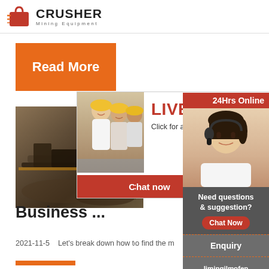CRUSHER Mining Equipment
[Figure (logo): Red shopping bag with speed lines logo icon next to CRUSHER Mining Equipment text]
[Figure (illustration): Orange Read More button]
[Figure (photo): Mining equipment/conveyor photo on left side]
[Figure (photo): Live Chat overlay popup with workers in hard hats, Chat now and Chat later buttons]
Grind Your Business ...
2021-11-5   Let's break down how to find the m
[Figure (illustration): Right sidebar: 24Hrs Online banner, female customer service agent photo, Need questions & suggestion? Chat Now button, Enquiry section, limingjlmofen@sina.com email]